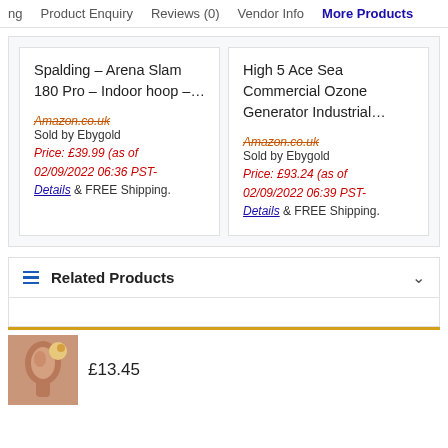ng   Product Enquiry   Reviews (0)   Vendor Info   More Products
Spalding – Arena Slam 180 Pro – Indoor hoop –...  Amazon.co.uk  Sold by Ebygold  Price: £39.99 (as of 02/09/2022 06:36 PST- Details) & FREE Shipping.
High 5 Ace Sea Commercial Ozone Generator Industrial...  Amazon.co.uk  Sold by Ebygold  Price: £93.24 (as of 02/09/2022 06:39 PST- Details) & FREE Shipping.
Related Products
£13.45